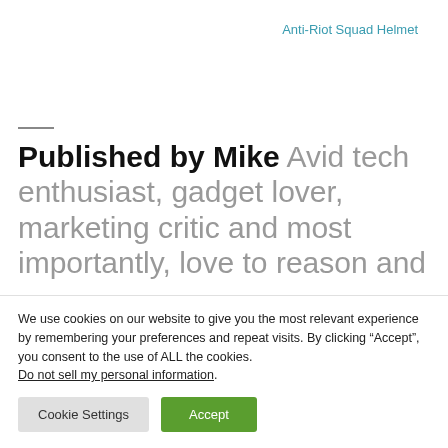Anti-Riot Squad Helmet
Published by Mike Avid tech enthusiast, gadget lover, marketing critic and most importantly, love to reason and
We use cookies on our website to give you the most relevant experience by remembering your preferences and repeat visits. By clicking “Accept”, you consent to the use of ALL the cookies. Do not sell my personal information.